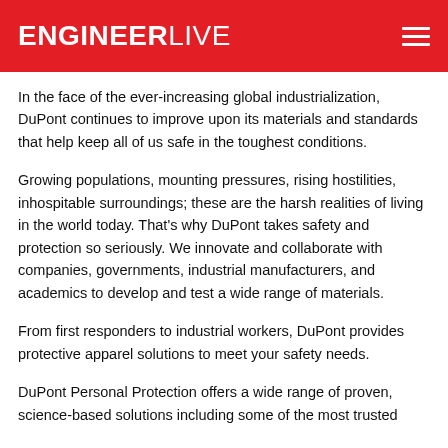ENGINEERLIVE
In the face of the ever-increasing global industrialization, DuPont continues to improve upon its materials and standards that help keep all of us safe in the toughest conditions.
Growing populations, mounting pressures, rising hostilities, inhospitable surroundings; these are the harsh realities of living in the world today. That’s why DuPont takes safety and protection so seriously. We innovate and collaborate with companies, governments, industrial manufacturers, and academics to develop and test a wide range of materials.
From first responders to industrial workers, DuPont provides protective apparel solutions to meet your safety needs.
DuPont Personal Protection offers a wide range of proven, science-based solutions including some of the most trusted